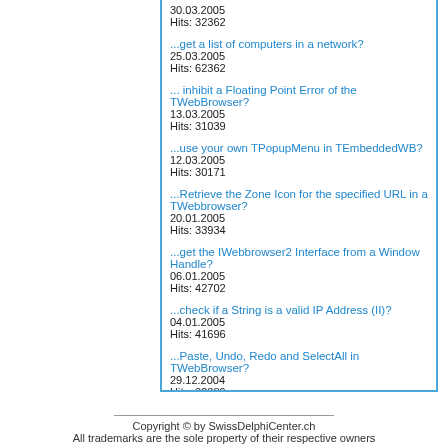30.03.2005
Hits: 32362
...get a list of computers in a network?
25.03.2005
Hits: 62362
... inhibit a Floating Point Error of the TWebBrowser?
13.03.2005
Hits: 31039
...use your own TPopupMenu in TEmbeddedWB?
12.03.2005
Hits: 30171
...Retrieve the Zone Icon for the specified URL in a TWebbrowser?
20.01.2005
Hits: 33934
...get the IWebbrowser2 Interface from a Window Handle?
06.01.2005
Hits: 42702
...check if a String is a valid IP Address (II)?
04.01.2005
Hits: 41696
...Paste, Undo, Redo and SelectAll in TWebBrowser?
29.12.2004
Hits: 32389
[<<] [1][2][3][4][5][6] [>>]
Copyright © by SwissDelphiCenter.ch
All trademarks are the sole property of their respective owners